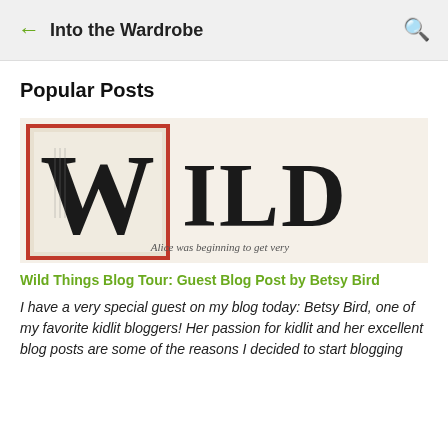Into the Wardrobe
Popular Posts
[Figure (illustration): Book cover or banner image for 'WILD' with decorative large W letter containing an illustration, text reads 'Alice was beginning to get very']
Wild Things Blog Tour: Guest Blog Post by Betsy Bird
I have a very special guest on my blog today: Betsy Bird, one of my favorite kidlit bloggers! Her passion for kidlit and her excellent blog posts are some of the reasons I decided to start blogging